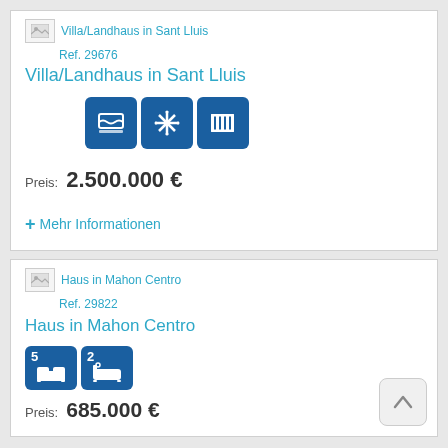Villa/Landhaus in Sant Lluis
Ref. 29676
[Figure (infographic): Three blue icon boxes: swimming pool, snowflake/air conditioning, radiator/heating]
Preis: 2.500.000 €
+ Mehr Informationen
Haus in Mahon Centro
Ref. 29822
[Figure (infographic): Two blue icon boxes with badges: 5 beds, 2 baths]
Preis: 685.000 €